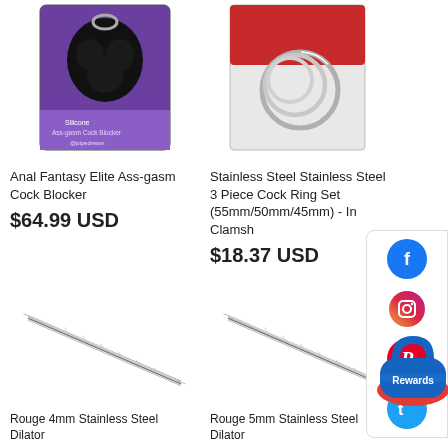[Figure (photo): Anal Fantasy Elite Ass-gasm Cock Blocker product in purple box with black silicone device]
[Figure (photo): Stainless Steel 3 Piece Cock Ring Set in clear clamshell packaging showing three metal rings]
Anal Fantasy Elite Ass-gasm Cock Blocker
$64.99 USD
Stainless Steel Stainless Steel 3 Piece Cock Ring Set (55mm/50mm/45mm) - In Clamsh
$18.37 USD
[Figure (photo): Rouge 4mm Stainless Steel Dilator - thin metallic rod on white background]
[Figure (photo): Rouge 5mm Stainless Steel Dilator - thin metallic rod on white background]
Rouge 4mm Stainless Steel Dilator
Rouge 5mm Stainless Steel Dilator